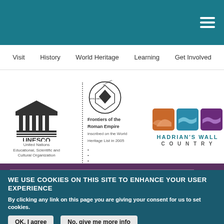[Figure (screenshot): Teal top navigation bar with hamburger menu icon on the right]
Visit | History | World Heritage | Learning | Get Involved
[Figure (logo): UNESCO logo with text 'United Nations Educational, Scientific and Cultural Organization', World Heritage 'Frontiers of the Roman Empire inscribed on the World Heritage List in 2005' logo, and Hadrian's Wall Country logo with three colored squares (orange, teal, purple)]
WE USE COOKIES ON THIS SITE TO ENHANCE YOUR USER EXPERIENCE
By clicking any link on this page you are giving your consent for us to set cookies.
OK, I agree
No, give me more info